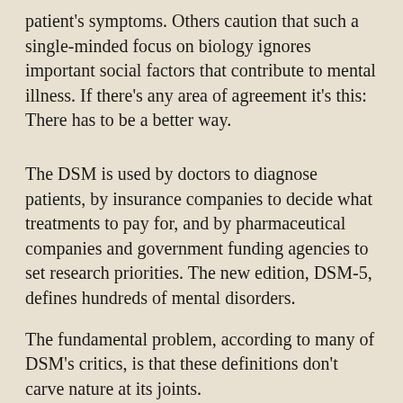patient's symptoms. Others caution that such a single-minded focus on biology ignores important social factors that contribute to mental illness. If there's any area of agreement it's this: There has to be a better way.
The DSM is used by doctors to diagnose patients, by insurance companies to decide what treatments to pay for, and by pharmaceutical companies and government funding agencies to set research priorities. The new edition, DSM-5, defines hundreds of mental disorders.
The fundamental problem, according to many of DSM's critics, is that these definitions don't carve nature at its joints.
“An obvious, easy example is schizophrenia,” said Peter Kinderman, a clinical psychologist at the University of Liverpool. “If you’re a 52-year-old man who hears voices, you’ll receive a diagnosis of schizophrenia. If you’re a 27-year-old woman with delusional beliefs, you’ll also receive a diagnosis of schizophrenia,” Kinderman said. “Two people can receive the same diagnosis and not have a single thing